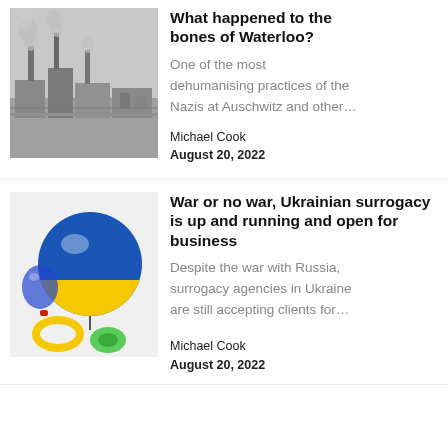[Figure (photo): Black and white historical photograph of an industrial facility with smoke stacks emitting smoke, resembling a 19th century factory or camp.]
What happened to the bones of Waterloo?
One of the most dehumanising practices of the Nazis at Auschwitz and other…
Michael Cook
August 20, 2022
[Figure (photo): Color photo of balloons and baby items decorated in the colors of the Ukrainian flag (blue and yellow), including a large blue and yellow globe balloon and a pacifier.]
War or no war, Ukrainian surrogacy is up and running and open for business
Despite the war with Russia, surrogacy agencies in Ukraine are still accepting clients for…
Michael Cook
August 20, 2022